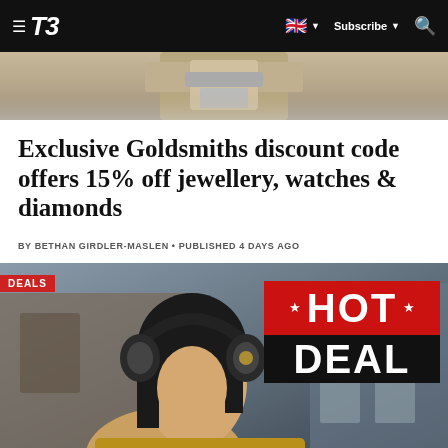T3 — Subscribe
[Figure (photo): Top partial image of a watch strap/clasp against a beige/tan background]
Exclusive Goldsmiths discount code offers 15% off jewellery, watches & diamonds
BY BETHAN GIRDLER-MASLEN • PUBLISHED 4 DAYS AGO
[Figure (photo): Woman wearing over-ear headphones outdoors in front of a brick building, with a red and black HOT DEAL badge overlay and a red DEALS badge in the top left corner]